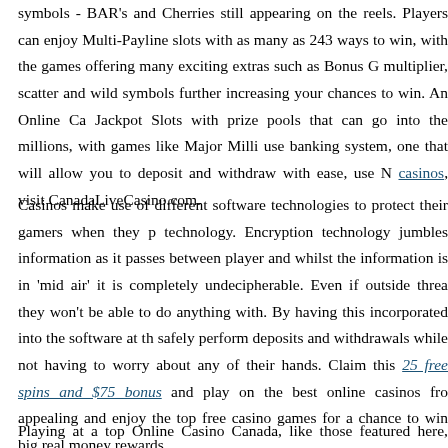symbols - BAR's and Cherries still appearing on the reels. Players can enjoy Multi-Payline slots with as many as 243 ways to win, with the games offering many exciting extras such as Bonus Games, Free Spins, multiplier, scatter and wild symbols further increasing your chances to win. An Online Casino also features Jackpot Slots with prize pools that can go into the millions, with games like Major Millions. For an easy to use banking system, one that will allow you to deposit and withdraw with ease, use NetEnt casinos, visit CanadaLiveCasino.com.
Casinos make use of different software technologies to protect their gamers when they play. Encryption technology. Encryption technology jumbles information as it passes between player and casino, meaning that whilst the information is in 'mid air' it is completely undecipherable. Even if outside threats manage to intercept they won't be able to do anything with. By having this incorporated into the software at the casino, players can safely perform deposits and withdrawals while not having to worry about any of their information falling into wrong hands. Claim this 25 free spins and $75 bonus and play on the best online casinos from Canada that are most appealing and enjoy the top free casino games for a chance to win big real money rewards.
Playing at a top Online Casino Canada, like those featured here, gives players access to